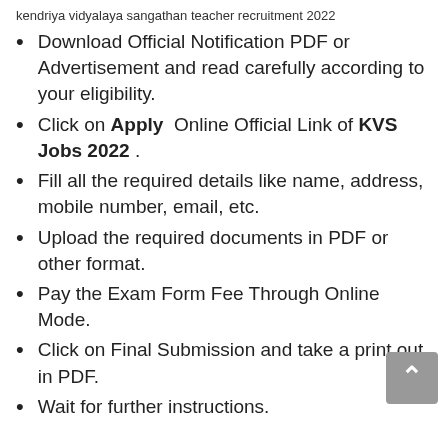kendriya vidyalaya sangathan teacher recruitment 2022
Download Official Notification PDF or Advertisement and read carefully according to your eligibility.
Click on Apply Online Official Link of KVS Jobs 2022 .
Fill all the required details like name, address, mobile number, email, etc.
Upload the required documents in PDF or other format.
Pay the Exam Form Fee Through Online Mode.
Click on Final Submission and take a print out in PDF.
Wait for further instructions.